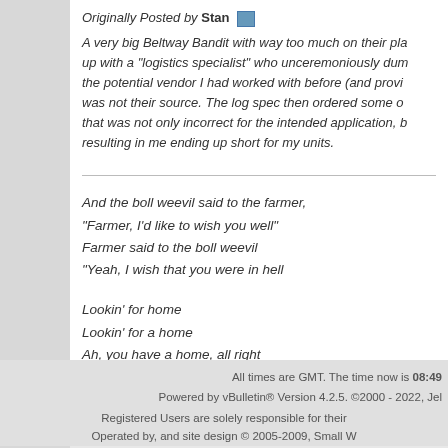Originally Posted by Stan
A very big Beltway Bandit with way too much on their pla... up with a "logistics specialist" who unceremoniously dum... the potential vendor I had worked with before (and provi... was not their source. The log spec then ordered some o... that was not only incorrect for the intended application, b... resulting in me ending up short for my units.
And the boll weevil said to the farmer,
"Farmer, I'd like to wish you well"
Farmer said to the boll weevil
"Yeah, I wish that you were in hell
Lookin' for home
Lookin' for a home
Ah, you have a home, all right
You'd have a home, real hot home."
All times are GMT. The time now is 08:49
Powered by vBulletin® Version 4.2.5. ©2000 - 2022, Jel...
Registered Users are solely responsible for their...
Operated by, and site design © 2005-2009, Small W...